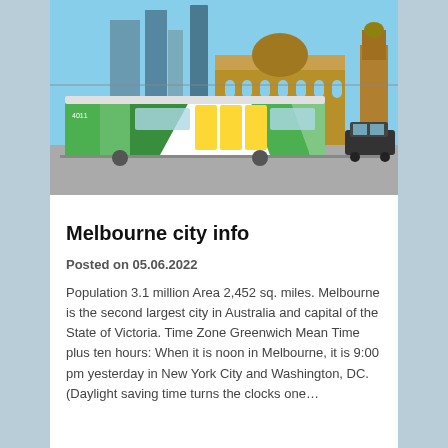[Figure (photo): A green and white tram with yellow doors at an intersection, with Flinders Street Station visible in the background under a clear blue sky. Melbourne city skyline in background.]
Melbourne city info
Posted on 05.06.2022
Population 3.1 million Area 2,452 sq. miles. Melbourne is the second largest city in Australia and capital of the State of Victoria. Time Zone Greenwich Mean Time plus ten hours: When it is noon in Melbourne, it is 9:00 pm yesterday in New York City and Washington, DC. (Daylight saving time turns the clocks one...